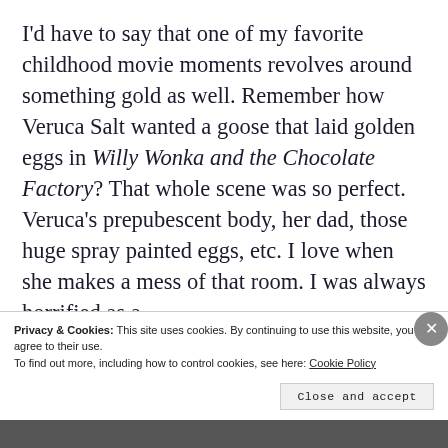I'd have to say that one of my favorite childhood movie moments revolves around something gold as well. Remember how Veruca Salt wanted a goose that laid golden eggs in Willy Wonka and the Chocolate Factory? That whole scene was so perfect. Veruca's prepubescent body, her dad, those huge spray painted eggs, etc. I love when she makes a mess of that room. I was always horrified as a
Privacy & Cookies: This site uses cookies. By continuing to use this website, you agree to their use.
To find out more, including how to control cookies, see here: Cookie Policy
Close and accept